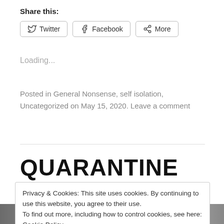Share this:
Twitter | Facebook | More
Loading...
Posted in General Nonsense, self isolation, Uncategorized on May 15, 2020. Leave a comment
QUARANTINE
Privacy & Cookies: This site uses cookies. By continuing to use this website, you agree to their use.
To find out more, including how to control cookies, see here: Cookie Policy
Close and accept
[Figure (photo): Partial view of a photo strip at the bottom of the page showing a building scene]